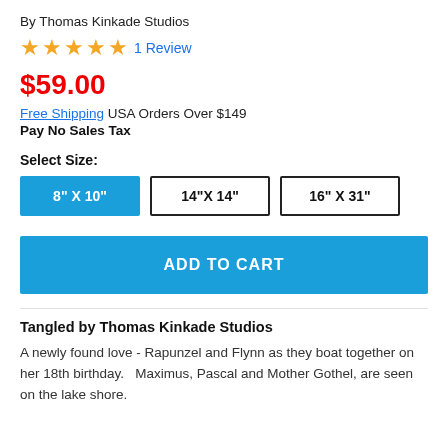By Thomas Kinkade Studios
★★★★★ 1 Review
$59.00
Free Shipping USA Orders Over $149
Pay No Sales Tax
Select Size:
8" X 10"  14"X 14"  16" X 31"
ADD TO CART
Tangled by Thomas Kinkade Studios
A newly found love - Rapunzel and Flynn as they boat together on her 18th birthday.   Maximus, Pascal and Mother Gothel, are seen on the lake shore.